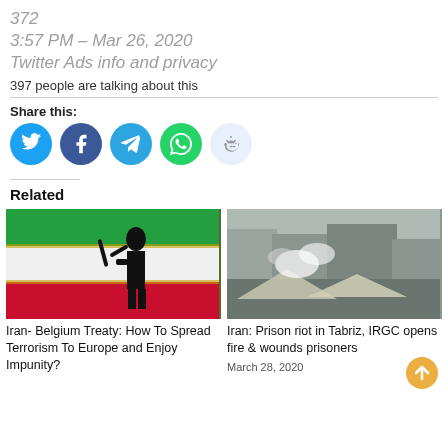372
3:57 PM – Mar 26, 2020
Twitter Ads info and privacy
397 people are talking about this
Share this:
[Figure (illustration): Five social share buttons: Twitter (blue), Facebook (blue), Telegram (blue), WhatsApp (green), Reddit (light blue)]
Related
[Figure (photo): Silhouette of armed figure in front of Iranian flag]
Iran- Belgium Treaty: How To Spread Terrorism To Europe and Enjoy Impunity?
[Figure (photo): Aerial view of Tabriz prison with smoke]
Iran: Prison riot in Tabriz, IRGC opens fire & wounds prisoners
March 28, 2020